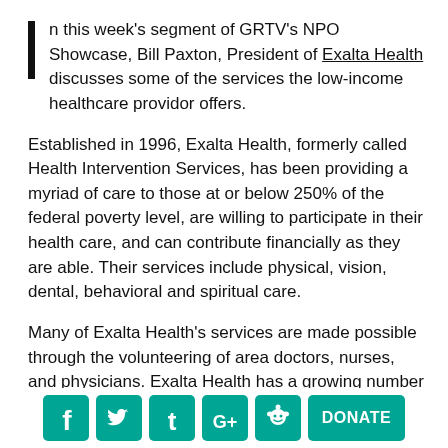In this week's segment of GRTV's NPO Showcase, Bill Paxton, President of Exalta Health discusses some of the services the low-income healthcare providor offers.
Established in 1996, Exalta Health, formerly called Health Intervention Services, has been providing a myriad of care to those at or below 250% of the federal poverty level, are willing to participate in their health care, and can contribute financially as they are able. Their services include physical, vision, dental, behavioral and spiritual care.
Many of Exalta Health's services are made possible through the volunteering of area doctors, nurses, and physicians. Exalta Health has a growing number of
[Figure (infographic): Social media icons (Facebook, Twitter, Tumblr, Google+, Reddit) and a DONATE button, all with teal backgrounds.]